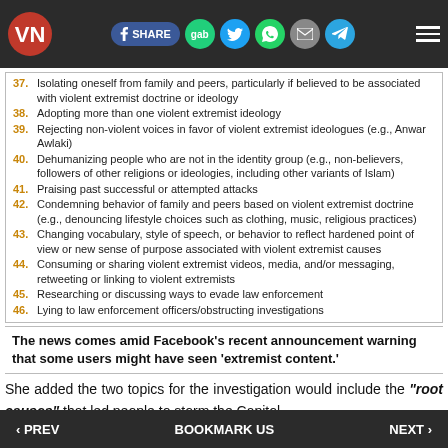VN [logo] | f SHARE | gab | Twitter | WhatsApp | email | Telegram | menu
37. Isolating oneself from family and peers, particularly if believed to be associated with violent extremist doctrine or ideology
38. Adopting more than one violent extremist ideology
39. Rejecting non-violent voices in favor of violent extremist ideologues (e.g., Anwar Awlaki)
40. Dehumanizing people who are not in the identity group (e.g., non-believers, followers of other religions or ideologies, including other variants of Islam)
41. Praising past successful or attempted attacks
42. Condemning behavior of family and peers based on violent extremist doctrine (e.g., denouncing lifestyle choices such as clothing, music, religious practices)
43. Changing vocabulary, style of speech, or behavior to reflect hardened point of view or new sense of purpose associated with violent extremist causes
44. Consuming or sharing violent extremist videos, media, and/or messaging, retweeting or linking to violent extremists
45. Researching or discussing ways to evade law enforcement
46. Lying to law enforcement officers/obstructing investigations
The news comes amid Facebook's recent announcement warning that some users might have seen 'extremist content.'
She added the two topics for the investigation would include the "root causes" that led people to storm the Capitol.
‹ PREV    BOOKMARK US    NEXT ›